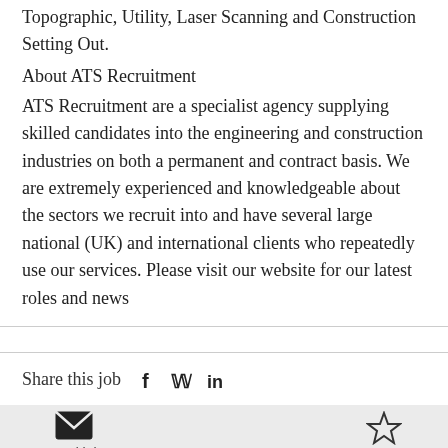Topographic, Utility, Laser Scanning and Construction Setting Out.
About ATS Recruitment
ATS Recruitment are a specialist agency supplying skilled candidates into the engineering and construction industries on both a permanent and contract basis. We are extremely experienced and knowledgeable about the sectors we recruit into and have several large national (UK) and international clients who repeatedly use our services. Please visit our website for our latest roles and news
Share this job
Send job
Save